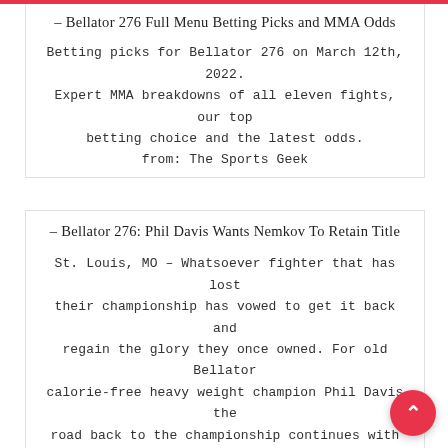– Bellator 276 Full Menu Betting Picks and MMA Odds
Betting picks for Bellator 276 on March 12th, 2022. Expert MMA breakdowns of all eleven fights, our top betting choice and the latest odds. from: The Sports Geek
– Bellator 276: Phil Davis Wants Nemkov To Retain Title
St. Louis, MO – Whatsoever fighter that has lost their championship has vowed to get it back and regain the glory they once owned. For old Bellator calorie-free heavy weight champion Phil Davis the road back to the championship continues with a … main event matchup with …